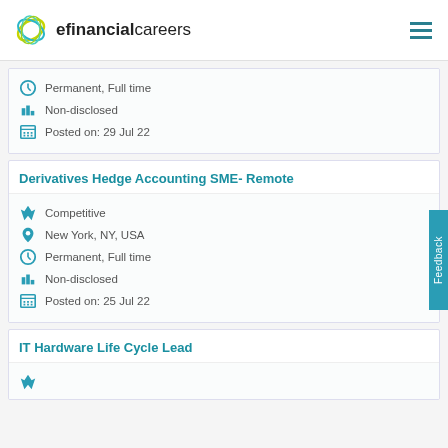efinancialcareers
Permanent, Full time
Non-disclosed
Posted on: 29 Jul 22
Derivatives Hedge Accounting SME- Remote
Competitive
New York, NY, USA
Permanent, Full time
Non-disclosed
Posted on: 25 Jul 22
IT Hardware Life Cycle Lead